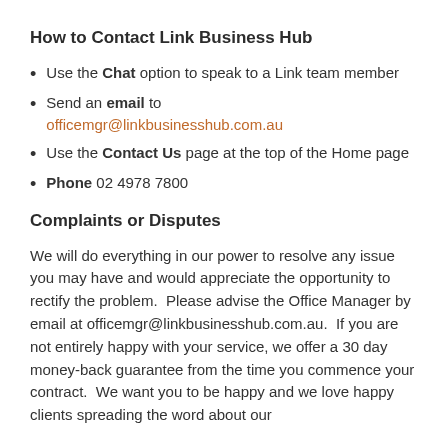How to Contact Link Business Hub
Use the Chat option to speak to a Link team member
Send an email to officemgr@linkbusinesshub.com.au
Use the Contact Us page at the top of the Home page
Phone 02 4978 7800
Complaints or Disputes
We will do everything in our power to resolve any issue you may have and would appreciate the opportunity to rectify the problem.  Please advise the Office Manager by email at officemgr@linkbusinesshub.com.au.  If you are not entirely happy with your service, we offer a 30 day money-back guarantee from the time you commence your contract.  We want you to be happy and we love happy clients spreading the word about our